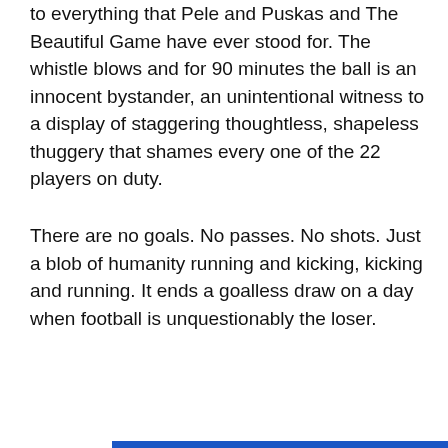to everything that Pele and Puskas and The Beautiful Game have ever stood for. The whistle blows and for 90 minutes the ball is an innocent bystander, an unintentional witness to a display of staggering thoughtless, shapeless thuggery that shames every one of the 22 players on duty.
There are no goals. No passes. No shots. Just a blob of humanity running and kicking, kicking and running. It ends a goalless draw on a day when football is unquestionably the loser.